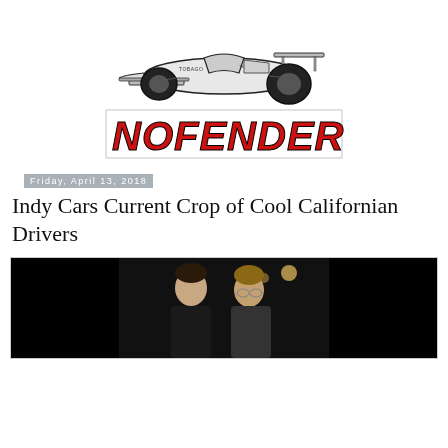[Figure (logo): NoFenders website logo: black and white illustration of a Formula 1 race car above the stylized red 'NOFENDERS' text]
Friday, April 13, 2018
Indy Cars Current Crop of Cool Californian Drivers
[Figure (photo): Dark photograph of two men posing together at what appears to be an indoor event with lights visible in the background]